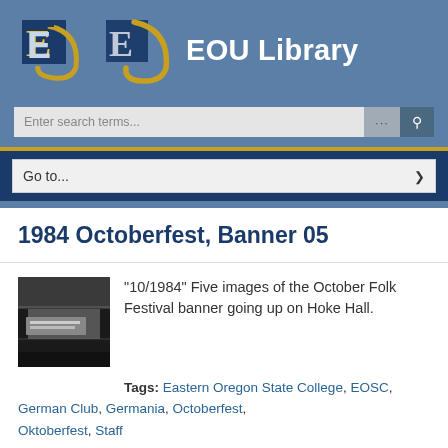EOU Library
1984 Octoberfest, Banner 05
"10/1984" Five images of the October Folk Festival banner going up on Hoke Hall.
Tags: Eastern Oregon State College, EOSC, German Club, Germania, Octoberfest, Oktoberfest, Staff
[Figure (photo): Black and white thumbnail photo showing a banner being installed on Hoke Hall, October 1984 October Folk Festival]